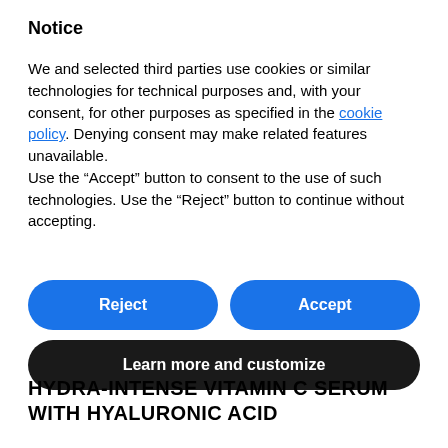Notice
We and selected third parties use cookies or similar technologies for technical purposes and, with your consent, for other purposes as specified in the cookie policy. Denying consent may make related features unavailable.
Use the “Accept” button to consent to the use of such technologies. Use the “Reject” button to continue without accepting.
[Figure (other): Blue 'Reject' button and blue 'Accept' button side by side, followed by a dark/black 'Learn more and customize' button below]
HYDRA-INTENSE VITAMIN C SERUM WITH HYALURONIC ACID
£20.00